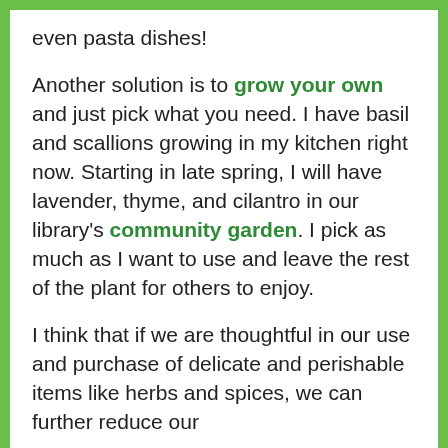even pasta dishes!
Another solution is to grow your own and just pick what you need. I have basil and scallions growing in my kitchen right now. Starting in late spring, I will have lavender, thyme, and cilantro in our library's community garden. I pick as much as I want to use and leave the rest of the plant for others to enjoy.
I think that if we are thoughtful in our use and purchase of delicate and perishable items like herbs and spices, we can further reduce our